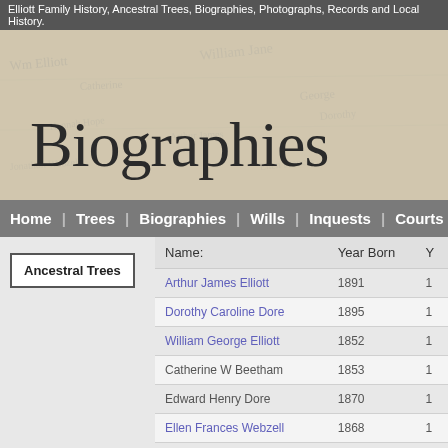Elliott Family History, Ancestral Trees, Biographies, Photographs, Records and Local History.
[Figure (illustration): Banner image with cursive handwriting background and large 'Biographies' title in serif font]
Home | Trees | Biographies | Wills | Inquests | Courts | Photos | Re...
Ancestral Trees
| Name: | Year Born | Y... |
| --- | --- | --- |
| Arthur James Elliott | 1891 | 1 |
| Dorothy Caroline Dore | 1895 | 1 |
| William George Elliott | 1852 | 1 |
| Catherine W Beetham | 1853 | 1 |
| Edward Henry Dore | 1870 | 1 |
| Ellen Frances Webzell | 1868 | 1 |
| George Thompson Elliott | 1814 | 1 |
| Hannah Hope | 1816 | 1 |
| William James Beetham | 1826 | 1 |
| Catherine Hall Black | 1826 | 1 |
| William Dore | 1843 | 1 |
| Elenor Bridge | 1839 | 1 |
| Jonathon Webzell | 1840 | 1 |